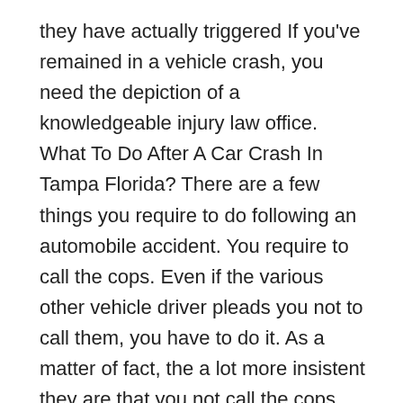they have actually triggered If you've remained in a vehicle crash, you need the depiction of a knowledgeable injury law office. What To Do After A Car Crash In Tampa Florida? There are a few things you require to do following an automobile accident. You require to call the cops. Even if the various other vehicle driver pleads you not to call them, you have to do it. As a matter of fact, the a lot more insistent they are that you not call the cops. The police will provide a report that your car mishap lawyer will require later on in your instance. The authorities record will consist of very vital details, including: The name as well as contact information for witnesses Declarations made by both motorists A description of the crash scene Photos of the scene and the vehicles Description of the roadway conditions Insurance coverage and also certificate information for both parties Proof that either